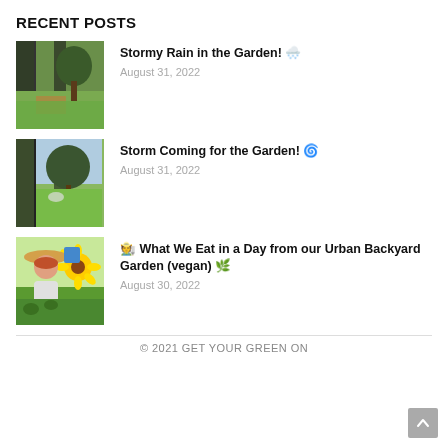RECENT POSTS
Stormy Rain in the Garden! 🌨️ August 31, 2022
Storm Coming for the Garden! 🌀 August 31, 2022
🧑‍🌾 What We Eat in a Day from our Urban Backyard Garden (vegan) 🌿 August 30, 2022
© 2021 GET YOUR GREEN ON